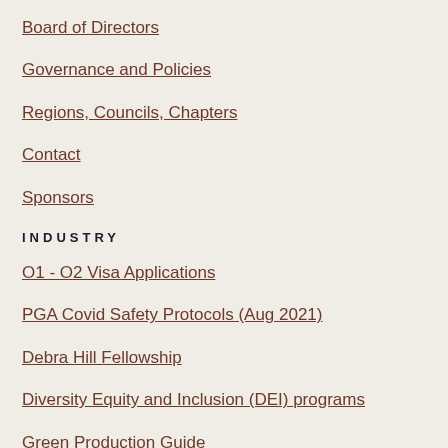Board of Directors
Governance and Policies
Regions, Councils, Chapters
Contact
Sponsors
INDUSTRY
O1 - O2 Visa Applications
PGA Covid Safety Protocols (Aug 2021)
Debra Hill Fellowship
Diversity Equity and Inclusion (DEI) programs
Green Production Guide